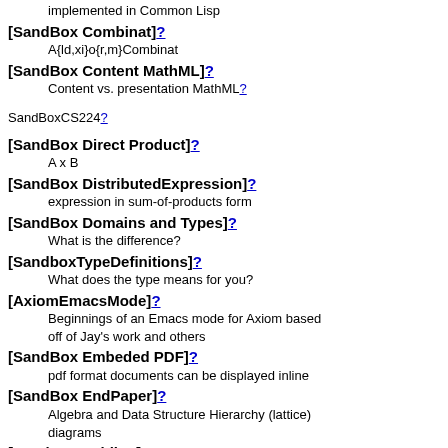implemented in Common Lisp
[SandBox Combinat]?
A{ld,xi}o{r,m}Combinat
[SandBox Content MathML]?
Content vs. presentation MathML?
SandBoxCS224?
[SandBox Direct Product]?
A x B
[SandBox DistributedExpression]?
expression in sum-of-products form
[SandBox Domains and Types]?
What is the difference?
[SandboxTypeDefinitions]?
What does the type means for you?
[AxiomEmacsMode]?
Beginnings of an Emacs mode for Axiom based off of Jay's work and others
[SandBox Embeded PDF]?
pdf format documents can be displayed inline
[SandBox EndPaper]?
Algebra and Data Structure Hierarchy (lattice) diagrams
[SandBox Folding]?